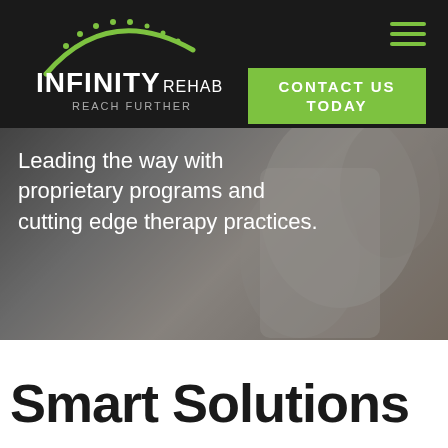[Figure (logo): Infinity Rehab logo with green arc and dots above text INFINITY REHAB REACH FURTHER on dark background]
CONTACT US TODAY
[Figure (photo): Blurred background photo of a person in a white coat or shirt, hero banner image]
Leading the way with proprietary programs and cutting edge therapy practices.
Smart Solutions